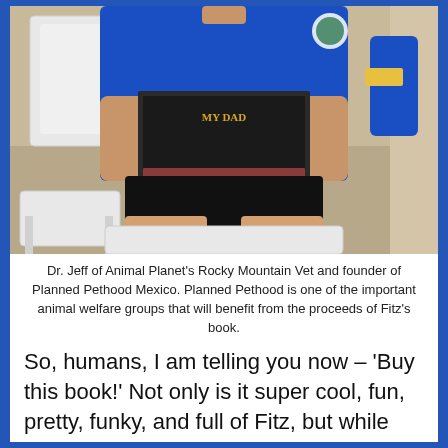[Figure (photo): A man in a blue scrub top sitting on a white plastic chair, holding a book with a dark cover. He is wearing black shorts. A white plastic chair is visible in the background to the left.]
Dr. Jeff of Animal Planet's Rocky Mountain Vet and founder of Planned Pethood Mexico. Planned Pethood is one of the important animal welfare groups that will benefit from the proceeds of Fitz's book.
So, humans, I am telling you now – 'Buy this book!' Not only is it super cool, fun, pretty, funky, and full of Fitz, but while you enjoy flicking